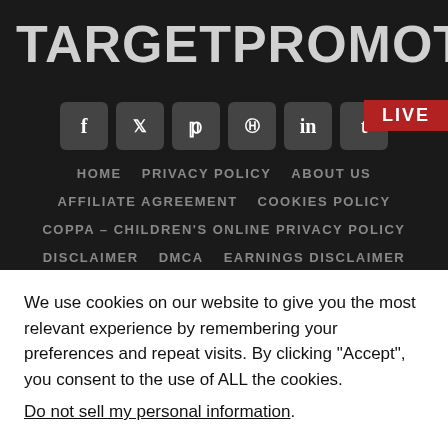TARGETPROMOTING
LIVE
[Figure (illustration): Social media icons: Facebook (f), Twitter (bird/t), Pinterest (p), Instagram (camera), LinkedIn (in), Tumblr (t)]
HOME   PRIVACY POLICY   ABOUT US   AFFILIATE AGREEMENT   COOKIES POLICY   COPPA – CHILDREN'S ONLINE PRIVACY POLICY   DISCLAIMER   DMCA   EARNINGS DISCLAIMER
We use cookies on our website to give you the most relevant experience by remembering your preferences and repeat visits. By clicking “Accept”, you consent to the use of ALL the cookies.
Do not sell my personal information.
Cookie Settings   Accept